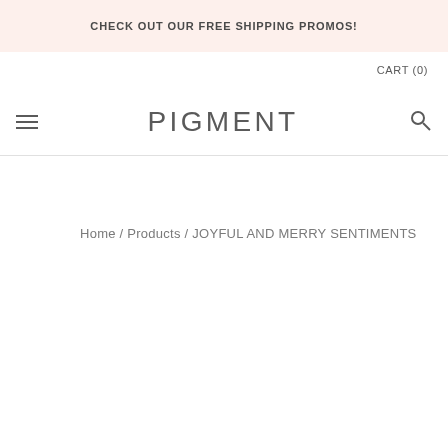CHECK OUT OUR FREE SHIPPING PROMOS!
CART (0)
PIGMENT
Home / Products / JOYFUL AND MERRY SENTIMENTS